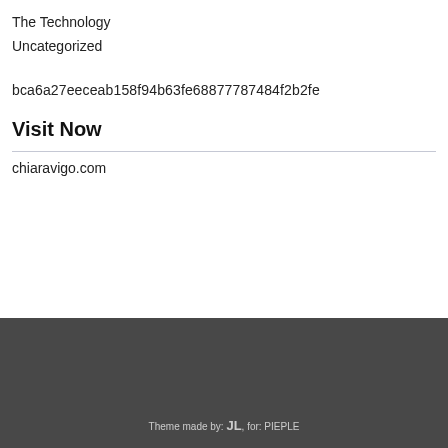The Technology
Uncategorized
bca6a27eeceab158f94b63fe68877787484f2b2fe
Visit Now
chiaravigo.com
Theme made by: JL, for: PIEPLE